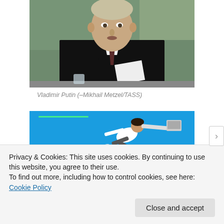[Figure (photo): Photograph of Vladimir Putin in a dark suit with a dark tie, seated at a table holding papers, with trees visible in the background through a window.]
Vladimir Putin (–Mikhail Metzel/TASS)
[Figure (photo): A person in a white shirt leaping/diving on a bright blue background, appearing to throw or reach with a laptop/object.]
Privacy & Cookies: This site uses cookies. By continuing to use this website, you agree to their use.
To find out more, including how to control cookies, see here: Cookie Policy
Close and accept